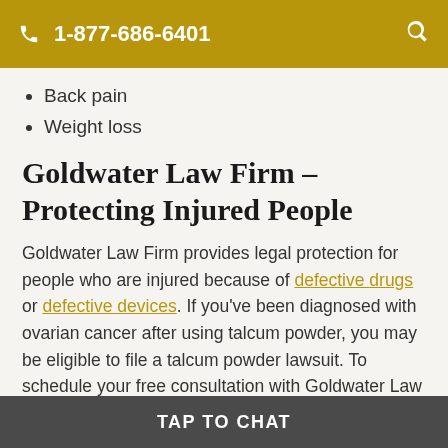1-877-686-6401
Back pain
Weight loss
Goldwater Law Firm – Protecting Injured People
Goldwater Law Firm provides legal protection for people who are injured because of defective drugs or defective devices. If you've been diagnosed with ovarian cancer after using talcum powder, you may be eligible to file a talcum powder lawsuit. To schedule your free consultation with Goldwater Law Firm,
TAP TO CHAT